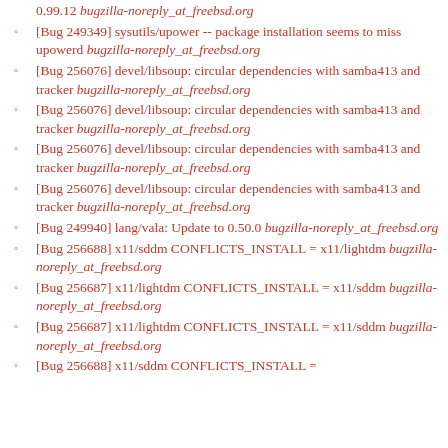0.99.12 bugzilla-noreply_at_freebsd.org
[Bug 249349] sysutils/upower -- package installation seems to miss upowerd bugzilla-noreply_at_freebsd.org
[Bug 256076] devel/libsoup: circular dependencies with samba413 and tracker bugzilla-noreply_at_freebsd.org
[Bug 256076] devel/libsoup: circular dependencies with samba413 and tracker bugzilla-noreply_at_freebsd.org
[Bug 256076] devel/libsoup: circular dependencies with samba413 and tracker bugzilla-noreply_at_freebsd.org
[Bug 256076] devel/libsoup: circular dependencies with samba413 and tracker bugzilla-noreply_at_freebsd.org
[Bug 249940] lang/vala: Update to 0.50.0 bugzilla-noreply_at_freebsd.org
[Bug 256688] x11/sddm CONFLICTS_INSTALL = x11/lightdm bugzilla-noreply_at_freebsd.org
[Bug 256687] x11/lightdm CONFLICTS_INSTALL = x11/sddm bugzilla-noreply_at_freebsd.org
[Bug 256687] x11/lightdm CONFLICTS_INSTALL = x11/sddm bugzilla-noreply_at_freebsd.org
[Bug 256688] x11/sddm CONFLICTS_INSTALL =